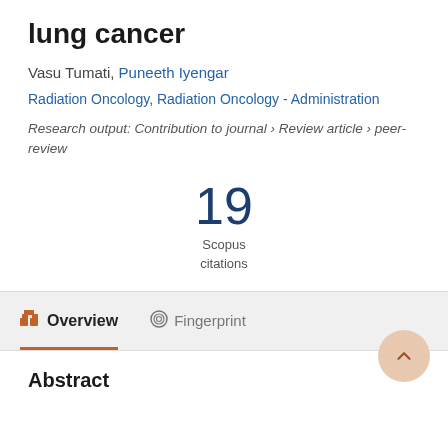lung cancer
Vasu Tumati, Puneeth Iyengar
Radiation Oncology, Radiation Oncology - Administration
Research output: Contribution to journal › Review article › peer-review
19
Scopus
citations
Overview   Fingerprint
Abstract